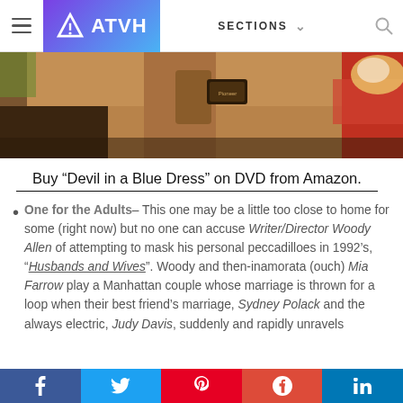ATVH — SECTIONS
[Figure (photo): Close-up photo of a person wearing a tan/brown jacket outdoors, with a car visible in the background. Warm-toned image.]
Buy “Devil in a Blue Dress” on DVD from Amazon.
One for the Adults– This one may be a little too close to home for some (right now) but no one can accuse Writer/Director Woody Allen of attempting to mask his personal peccadilloes in 1992’s, “Husbands and Wives”. Woody and then-inamorata (ouch) Mia Farrow play a Manhattan couple whose marriage is thrown for a loop when their best friend’s marriage, Sydney Polack and the always electric, Judy Davis, suddenly and rapidly unravels
f  t  p  G+  in